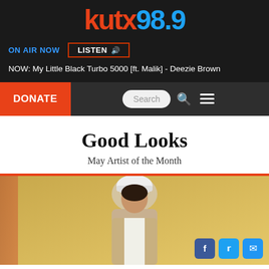kutx98.9
ON AIR NOW  LISTEN
NOW: My Little Black Turbo 5000 [ft. Malik] - Deezie Brown
DONATE
Search
Good Looks
May Artist of the Month
[Figure (photo): Photo of a person wearing a white beanie hat and beige jacket, looking at the camera, against a yellow brick wall background]